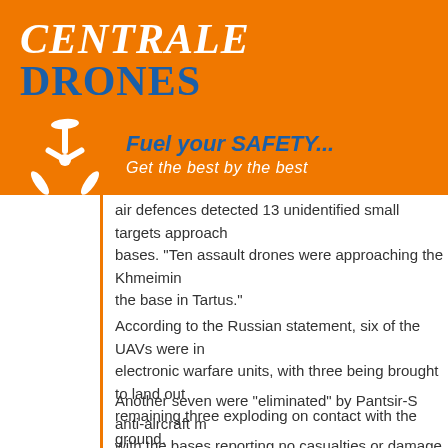[Figure (logo): Centrale Drones logo with orange banner background, white drone icon, taglines 'Fuel your SAFETY...' and 'Get the best by the best']
air defences detected 13 unidentified small targets approaching bases. "Ten assault drones were approaching the Khmeimin... the base in Tartus."
According to the Russian statement, six of the UAVs were intercepted by electronic warfare units, with three being brought to land outside the base and the remaining three exploding on contact with the ground.
Another seven were "eliminated" by Pantsir-S anti-aircraft missiles, with the bases reporting no casualties or damage, the statement said. While the UAVs look primitive, the Russians said they were armed with